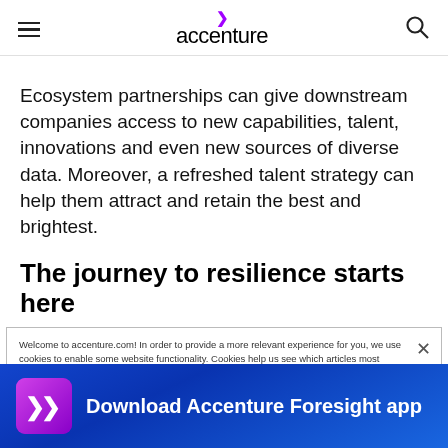accenture
Ecosystem partnerships can give downstream companies access to new capabilities, talent, innovations and even new sources of diverse data. Moreover, a refreshed talent strategy can help them attract and retain the best and brightest.
The journey to resilience starts here
Welcome to accenture.com! In order to provide a more relevant experience for you, we use cookies to enable some website functionality. Cookies help us see which articles most interest you; allow you to easily share articles on social media; permit us to deliver content, jobs and ads tailored to your interests and locations; and provide many other site benefits. For more information, please review our Cookies Policy and Privacy Statement.
Cookies Settings
Download Accenture Foresight app